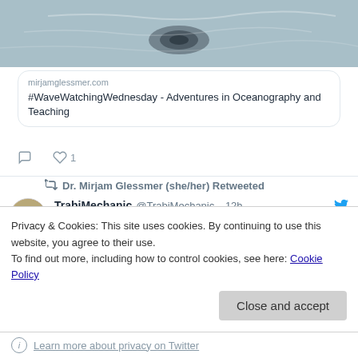[Figure (photo): Water surface photo showing ripple or hole pattern, gray-blue tones]
mirjamglessmer.com
#WaveWatchingWednesday - Adventures in Oceanography and Teaching
♡ 1
Dr. Mirjam Glessmer (she/her) Retweeted
TrabiMechanic @TrabiMechanic · 12h
A sophisticated discussion of belonging at
Privacy & Cookies: This site uses cookies. By continuing to use this website, you agree to their use.
To find out more, including how to control cookies, see here: Cookie Policy
Close and accept
Learn more about privacy on Twitter